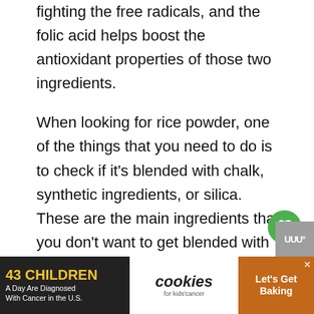fighting the free radicals, and the folic acid helps boost the antioxidant properties of those two ingredients.
When looking for rice powder, one of the things that you need to do is to check if it's blended with chalk, synthetic ingredients, or silica. These are the main ingredients that you don't want to get blended with your rice powder.
[Figure (screenshot): Advertisement banner at the bottom: '43 CHILDREN A Day Are Diagnosed With Cancer in the U.S.' with cookies for kids' cancer logo and 'Let's Get Baking' text on brown background. Muted speaker icon on dark grey block on right.]